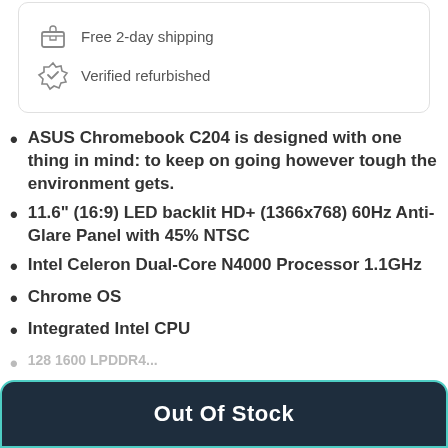Free 2-day shipping
Verified refurbished
ASUS Chromebook C204 is designed with one thing in mind: to keep on going however tough the environment gets.
11.6" (16:9) LED backlit HD+ (1366x768) 60Hz Anti-Glare Panel with 45% NTSC
Intel Celeron Dual-Core N4000 Processor 1.1GHz
Chrome OS
Integrated Intel CPU
Out Of Stock